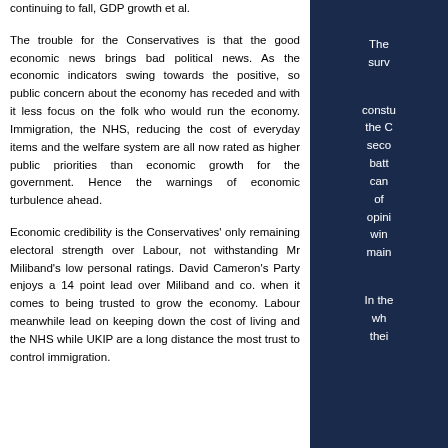continuing to fall, GDP growth et al.
The trouble for the Conservatives is that the good economic news brings bad political news. As the economic indicators swing towards the positive, so public concern about the economy has receded and with it less focus on the folk who would run the economy. Immigration, the NHS, reducing the cost of everyday items and the welfare system are all now rated as higher public priorities than economic growth for the government. Hence the warnings of economic turbulence ahead.
Economic credibility is the Conservatives' only remaining electoral strength over Labour, not withstanding Mr Miliband's low personal ratings. David Cameron's Party enjoys a 14 point lead over Miliband and co. when it comes to being trusted to grow the economy. Labour meanwhile lead on keeping down the cost of living and the NHS while UKIP are a long distance the most trust to control immigration.
The surv constu the C seco batt can of opini win main In the wh thei